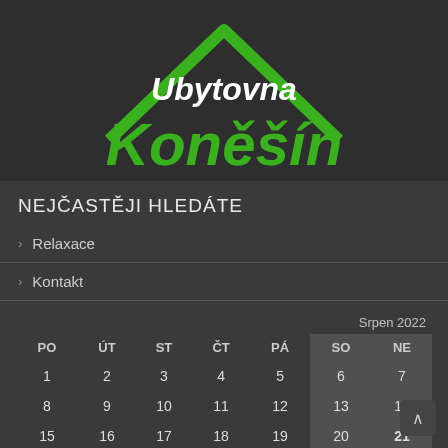[Figure (logo): Ubytovna Koněšín logo — green house/triangle outline with white 'Ubytovna' text and large green italic 'Koněšín' text on dark background]
NEJČASTĚJI HLEDÁTE
Relaxace
Kontakt
| PO | ÚT | ST | ČT | PÁ | SO | NE |
| --- | --- | --- | --- | --- | --- | --- |
| 1 | 2 | 3 | 4 | 5 | 6 | 7 |
| 8 | 9 | 10 | 11 | 12 | 13 | 14 |
| 15 | 16 | 17 | 18 | 19 | 20 | 21 |